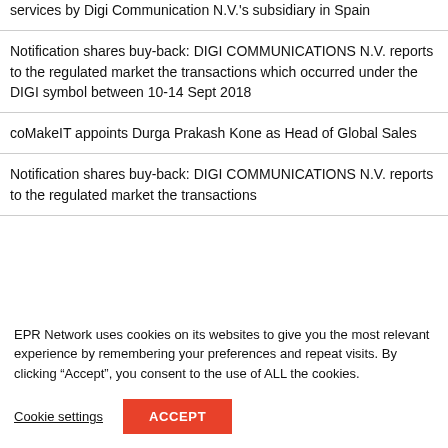services by Digi Communication N.V.'s subsidiary in Spain
Notification shares buy-back: DIGI COMMUNICATIONS N.V. reports to the regulated market the transactions which occurred under the DIGI symbol between 10-14 Sept 2018
coMakeIT appoints Durga Prakash Kone as Head of Global Sales
Notification shares buy-back: DIGI COMMUNICATIONS N.V. reports to the regulated market the transactions
EPR Network uses cookies on its websites to give you the most relevant experience by remembering your preferences and repeat visits. By clicking “Accept”, you consent to the use of ALL the cookies.
Cookie settings   ACCEPT